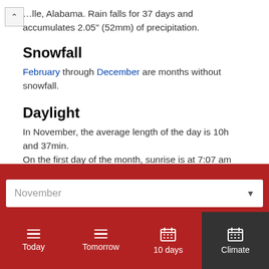lle, Alabama. Rain falls for 37 days and accumulates 2.05" (52mm) of precipitation.
Snowfall
February through December are months without snowfall.
Daylight
In November, the average length of the day is 10h and 37min. On the first day of the month, sunrise is at 7:07 am and sunset at 6:04 pm CDT. On the last day of
November ▼
Today
Tomorrow
10 days
Climate